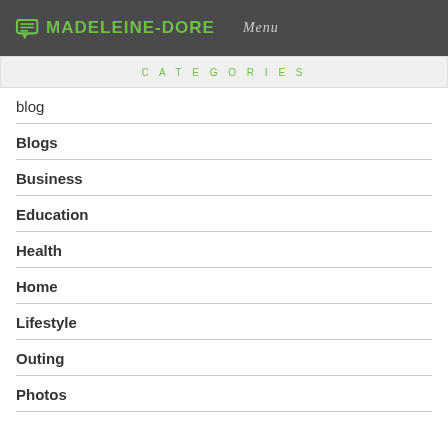MADELEINE-DORE  Menu
CATEGORIES
blog
Blogs
Business
Education
Health
Home
Lifestyle
Outing
Photos